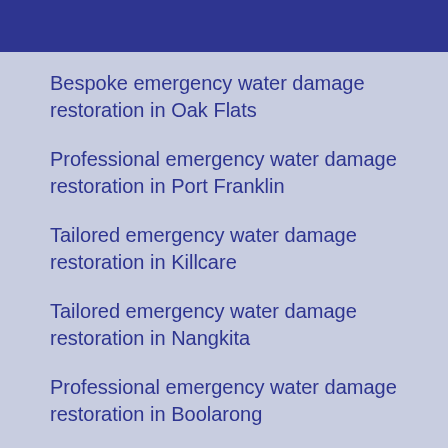Bespoke emergency water damage restoration in Oak Flats
Professional emergency water damage restoration in Port Franklin
Tailored emergency water damage restoration in Killcare
Tailored emergency water damage restoration in Nangkita
Professional emergency water damage restoration in Boolarong